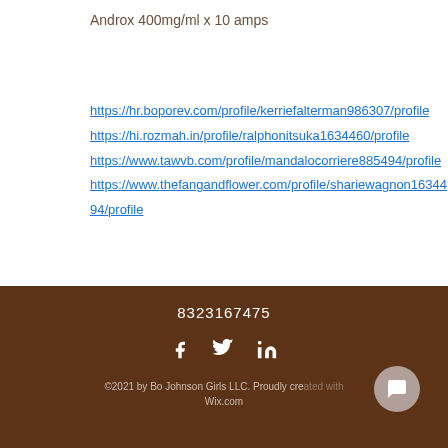Androx 400mg/ml x 10 amps
https://hr.boporev.com/profile/kerriefalterman986307/profile
https://hi.rozmah.in/profile/ralphonitsuka1634460/profile
https://www.tawvb.com/profile/mandalocorriere885494/profile
https://www.thefangandflower.com/profile/shariewagnon1634494/profile
8323167475
©2021 by Bo Johnson Girls LLC. Proudly created with Wix.com